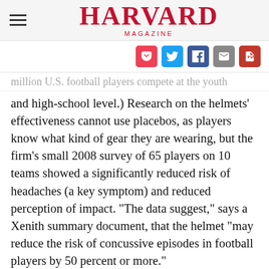HARVARD MAGAZINE
[Figure (other): Social sharing icons: Pocket, Twitter, Facebook, Email, PDF]
million U.S. football players compete at the youth and high-school level.) Research on the helmets' effectiveness cannot use placebos, as players know what kind of gear they are wearing, but the firm's small 2008 survey of 65 players on 10 teams showed a significantly reduced risk of headaches (a key symptom) and reduced perception of impact. "The data suggest," says a Xenith summary document, that the helmet "may reduce the risk of concussive episodes in football players by 50 percent or more."
...